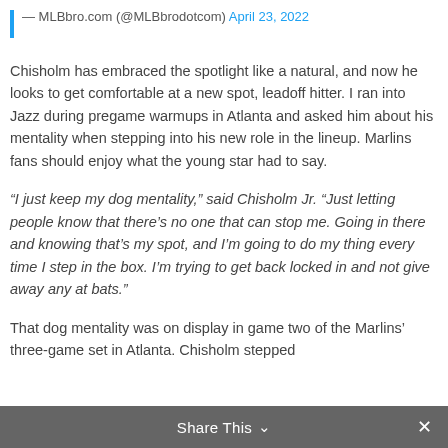— MLBbro.com (@MLBbrodotcom) April 23, 2022
Chisholm has embraced the spotlight like a natural, and now he looks to get comfortable at a new spot, leadoff hitter. I ran into Jazz during pregame warmups in Atlanta and asked him about his mentality when stepping into his new role in the lineup. Marlins fans should enjoy what the young star had to say.
“I just keep my dog mentality,” said Chisholm Jr. “Just letting people know that there’s no one that can stop me. Going in there and knowing that’s my spot, and I’m going to do my thing every time I step in the box. I’m trying to get back locked in and not give away any at bats.”
That dog mentality was on display in game two of the Marlins’ three-game set in Atlanta. Chisholm stepped
Share This